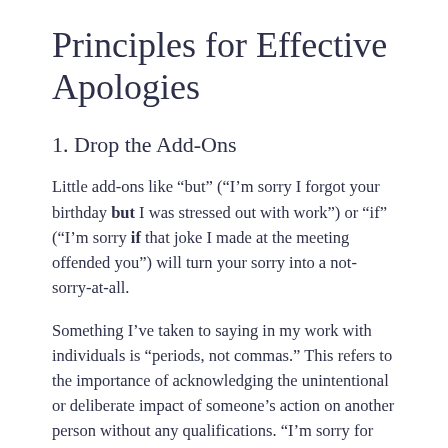Principles for Effective Apologies
1. Drop the Add-Ons
Little add-ons like “but” (“I’m sorry I forgot your birthday but I was stressed out with work”) or “if” (“I’m sorry if that joke I made at the meeting offended you”) will turn your sorry into a not-sorry-at-all.
Something I’ve taken to saying in my work with individuals is “periods, not commas.” This refers to the importance of acknowledging the unintentional or deliberate impact of someone’s action on another person without any qualifications. “I’m sorry for the most…